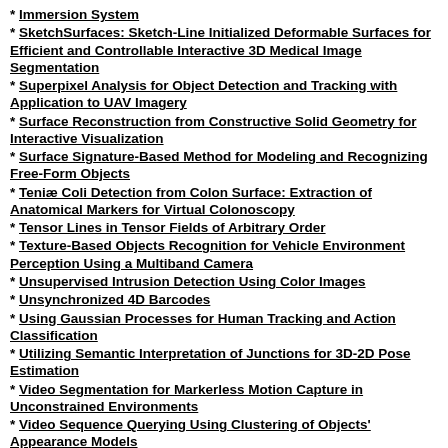Immersion System
SketchSurfaces: Sketch-Line Initialized Deformable Surfaces for Efficient and Controllable Interactive 3D Medical Image Segmentation
Superpixel Analysis for Object Detection and Tracking with Application to UAV Imagery
Surface Reconstruction from Constructive Solid Geometry for Interactive Visualization
Surface Signature-Based Method for Modeling and Recognizing Free-Form Objects
Teniæ Coli Detection from Colon Surface: Extraction of Anatomical Markers for Virtual Colonoscopy
Tensor Lines in Tensor Fields of Arbitrary Order
Texture-Based Objects Recognition for Vehicle Environment Perception Using a Multiband Camera
Unsupervised Intrusion Detection Using Color Images
Unsynchronized 4D Barcodes
Using Gaussian Processes for Human Tracking and Action Classification
Utilizing Semantic Interpretation of Junctions for 3D-2D Pose Estimation
Video Segmentation for Markerless Motion Capture in Unconstrained Environments
Video Sequence Querying Using Clustering of Objects' Appearance Models
Visible and Infrared Sensors Fusion by Matching Feature